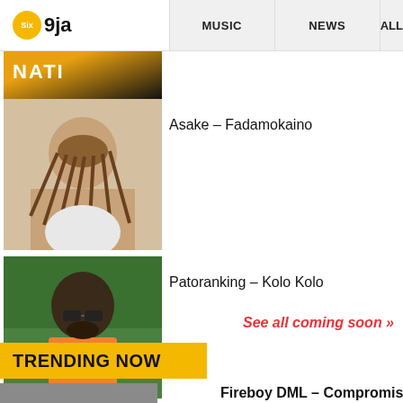Six 9ja | MUSIC | NEWS | ALL
[Figure (photo): Partial thumbnail showing NATI album cover with yellow and black coloring]
Asake – Fadamokaino
Patoranking – Kolo Kolo
See all coming soon »
TRENDING NOW
1 Fireboy DML – Compromise ft. Rema